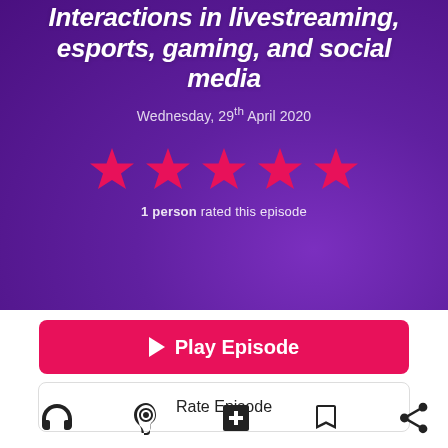Interactions in livestreaming, esports, gaming, and social media
Wednesday, 29th April 2020
[Figure (infographic): 5 pink/magenta filled star icons indicating a 5-star rating]
1 person rated this episode
Play Episode
Rate Episode
[Figure (infographic): Row of 5 icon buttons: headphones, ear/listen, add to playlist, bookmark, share]